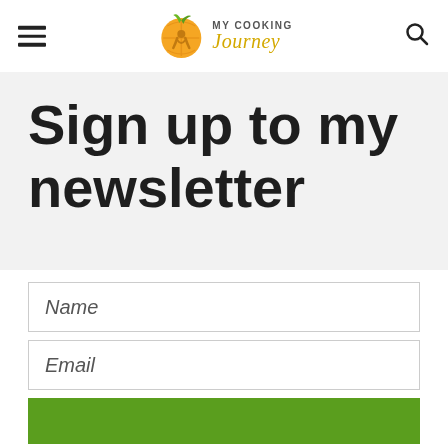[Figure (logo): My Cooking Journey logo with orange/lemon graphic and stylized text in yellow-green]
Sign up to my newsletter
Name
Email